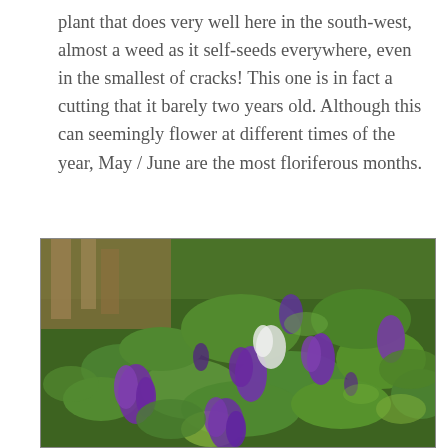plant that does very well here in the south-west, almost a weed as it self-seeds everywhere, even in the smallest of cracks! This one is in fact a cutting that it barely two years old. Although this can seemingly flower at different times of the year, May / June are the most floriferous months.
[Figure (photo): A flowering shrub (likely Buddleia/Buddleja) with dense clusters of purple flowers and green leaves, photographed outdoors in natural light.]